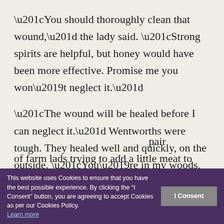“You should thoroughly clean that wound,” the lady said. “Strong spirits are helpful, but honey would have been more effective. Promise me you won’t neglect it.”
“The wound will be healed before I can neglect it.” Wentworths were tough. They healed well and quickly, on the outside. “You’re in my woods, alone, where all manner of ruffians apparently lurk. Might I escort you to your destination?”
She collected her pistol and the shorter knife, passing the longer one to Duncan. “That won’t be necessary. Tell your gamekeepers what you came across this … pair of farm lads trying to add a little meat to their mama’s
This website uses Cookies to ensure that you have the best possible experience. By clicking the “I Consent” button, you are agreeing to accept Cookies as per our Cookies Policy. Learn more